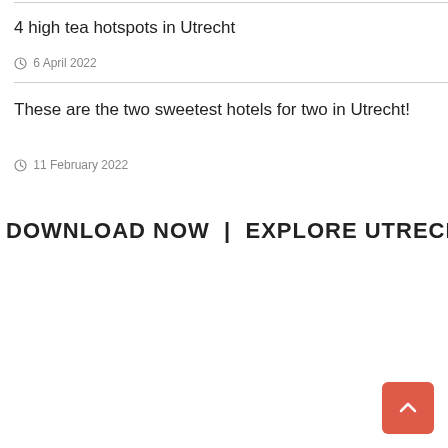4 high tea hotspots in Utrecht
6 April 2022
These are the two sweetest hotels for two in Utrecht!
11 February 2022
DOWNLOAD NOW | EXPLORE UTRECHT TOUR